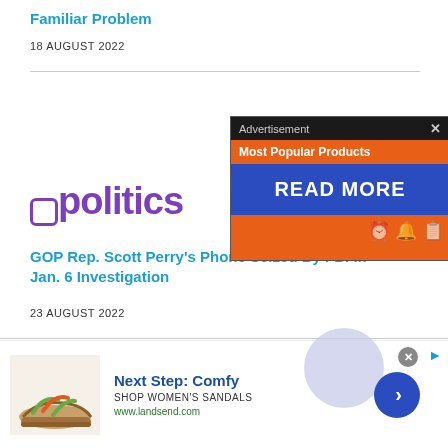Familiar Problem
18 AUGUST 2022
[Figure (logo): upolitics logo in purple with stylized U letter]
GOP Rep. Scott Perry's Phone Seized By FBI In Jan. 6 Investigation
23 AUGUST 2022
[Figure (infographic): Advertisement overlay with orange and blue bands, 'Most Popular Products' header, and 'READ MORE' button]
[Figure (infographic): Bottom banner advertisement for Lands End womens sandals showing a sandal image with 'Next Step: Comfy' text and shop button]